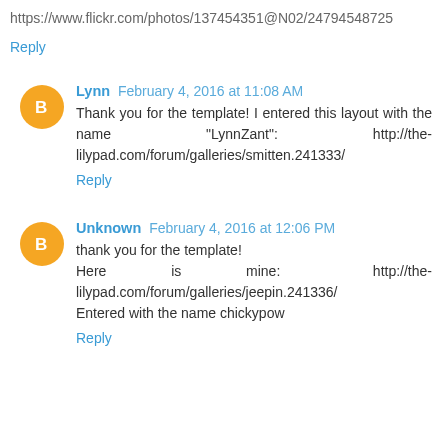https://www.flickr.com/photos/137454351@N02/24794548725
Reply
Lynn February 4, 2016 at 11:08 AM
Thank you for the template! I entered this layout with the name "LynnZant": http://the-lilypad.com/forum/galleries/smitten.241333/
Reply
Unknown February 4, 2016 at 12:06 PM
thank you for the template!
Here is mine: http://the-lilypad.com/forum/galleries/jeepin.241336/
Entered with the name chickypow
Reply